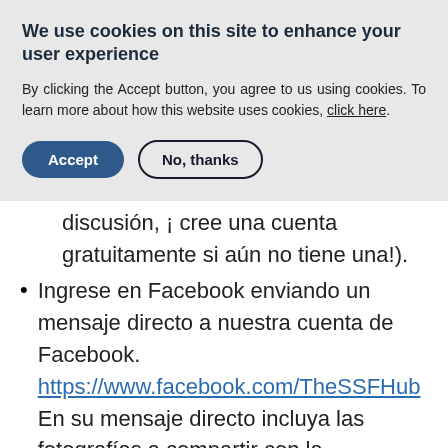We use cookies on this site to enhance your user experience
By clicking the Accept button, you agree to us using cookies. To learn more about how this website uses cookies, click here.
discusión, ¡ cree una cuenta gratuitamente si aún no tiene una!).
Ingrese en Facebook enviando un mensaje directo a nuestra cuenta de Facebook. https://www.facebook.com/TheSSFHub En su mensaje directo incluya las fotografías a compartir con la descripción de cada una con